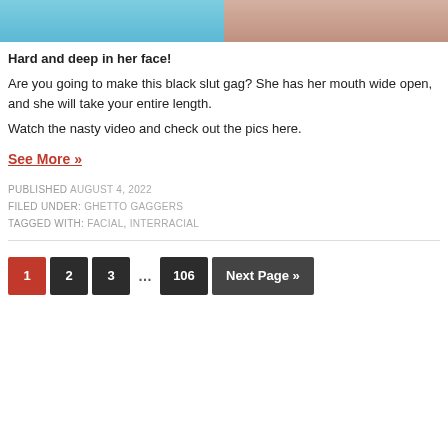[Figure (photo): Two side-by-side cropped photos at top of page]
Hard and deep in her face!
Are you going to make this black slut gag? She has her mouth wide open, and she will take your entire length.
Watch the nasty video and check out the pics here.
See More »
PUBLISHED AUGUST 4, 2022
FILED UNDER: GHETTO GAGGERS
TAGGED WITH: FACIAL, INTERRACIAL
1  2  3  ...  106  Next Page »